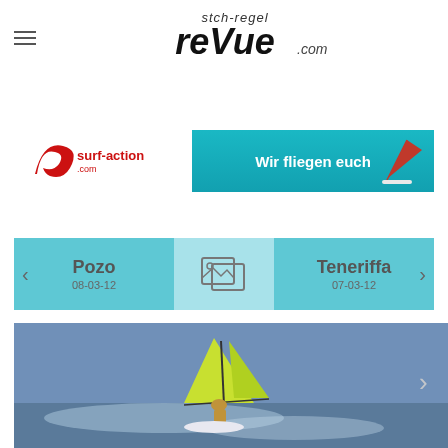[Figure (logo): stch-regel reVue.com logo in italic stylized font]
[Figure (photo): surf-action.com banner advertisement with windsurfer on turquoise water and text 'Wir fliegen euch']
[Figure (infographic): Navigation tabs showing Pozo 08-03-12 on left, image gallery icon in center, Teneriffa 07-03-12 on right with teal background]
[Figure (photo): Windsurfer performing an aerial trick over breaking waves with yellow sail, with right navigation arrow]